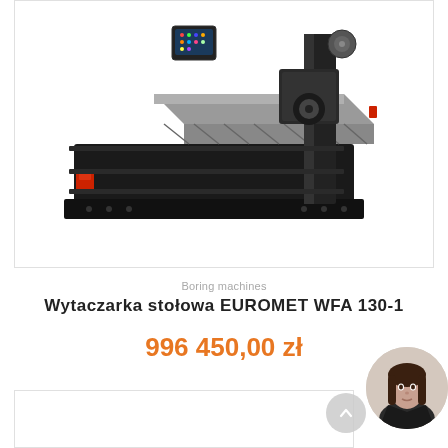[Figure (photo): Wytaczarka stołowa EUROMET WFA 130-1 horizontal boring machine, black and gray with red accents, shown at an angle with a touchscreen control panel visible at top left, on white background]
Boring machines
Wytaczarka stołowa EUROMET WFA 130-1
996 450,00 zł
[Figure (photo): Customer service advisor - woman with dark hair, partial view with gray circular UI elements for phone contact and scroll-up button]